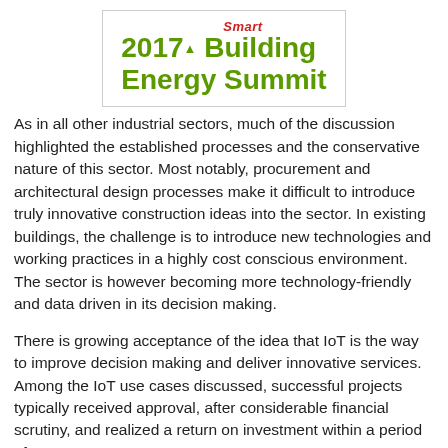[Figure (logo): 2017 Smart Building Energy Summit logo — green bold text with red italic 'Smart' above, inside a light grey border box]
As in all other industrial sectors, much of the discussion highlighted the established processes and the conservative nature of this sector. Most notably, procurement and architectural design processes make it difficult to introduce truly innovative construction ideas into the sector. In existing buildings, the challenge is to introduce new technologies and working practices in a highly cost conscious environment. The sector is however becoming more technology-friendly and data driven in its decision making.
There is growing acceptance of the idea that IoT is the way to improve decision making and deliver innovative services. Among the IoT use cases discussed, successful projects typically received approval, after considerable financial scrutiny, and realized a return on investment within a period of 1-2 years.